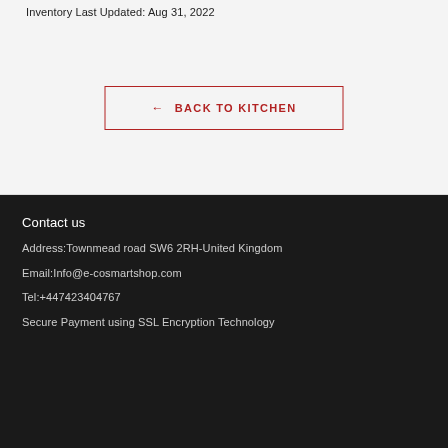Inventory Last Updated: Aug 31, 2022
← BACK TO KITCHEN
Contact us
Address:Townmead road SW6 2RH-United Kingdom
Email:Info@e-cosmartshop.com
Tel:+447423404767
Secure Payment using SSL Encryption Technology